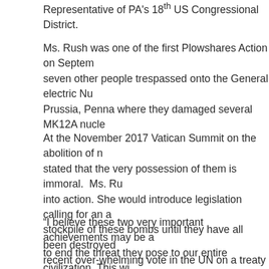Representative of PA's 18th US Congressional District.
Ms. Rush was one of the first Plowshares Action on September seven other people trespassed onto the General electric Nu Prussia, Penna where they damaged several MK12A nucle
At the November 2017 Vatican Summit on the abolition of n stated that the very possession of them is immoral. Ms. Ru into action. She would introduce legislation calling for an a stockpile of these bombs until they have all been destroyed recent over-whelming vote in the UN on a treaty to totally a United States with other nuclear weapons nations voted ag
“I believe these two very important achievements may be a to end the threat they pose to our entire civilization. This wi ordinary citizens concerns for the future of our children and Rush.